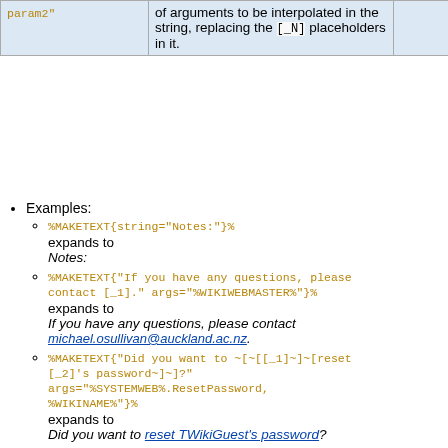| param2" |  |  |
| --- | --- | --- |
| param2" | of arguments to be interpolated in the string, replacing the [_N] placeholders in it. |  |
Examples:
%MAKETEXT{string="Notes:"}%
expands to
Notes:
%MAKETEXT{"If you have any questions, please contact [_1]." args="%WIKIWEBMASTER%"}%
expands to
If you have any questions, please contact michael.osullivan@auckland.ac.nz.
%MAKETEXT{"Did you want to ~[~[[_1]~]~[reset [_2]'s password~]~]?" args="%SYSTEMWEB%.ResetPassword, %WIKINAME%"}%
expands to
Did you want to reset TWikiGuest's password?
Notes:
TWiki will translate the string to the current user's language only if it has such string in its